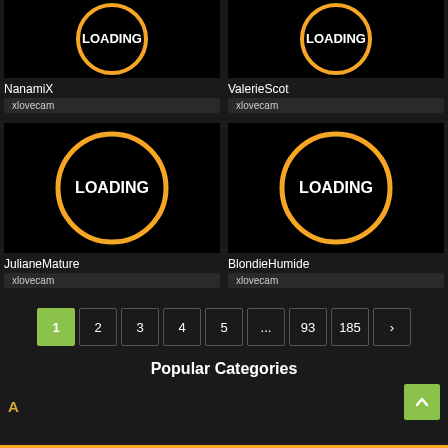[Figure (screenshot): Loading thumbnail for NanamiX on xlovecam]
NanamiX
xlovecam
[Figure (screenshot): Loading thumbnail for ValerieScot on xlovecam]
ValerieScot
xlovecam
[Figure (screenshot): Loading thumbnail for JulianeMature on xlovecam]
JulianeMature
xlovecam
[Figure (screenshot): Loading thumbnail for BlondieHumide on xlovecam]
BlondieHumide
xlovecam
1 2 3 4 5 ... 93 185 >
Popular Categories
A